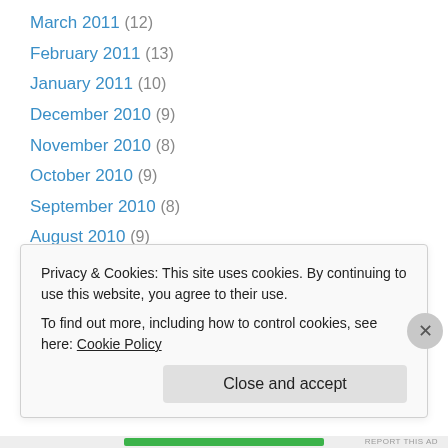March 2011 (12)
February 2011 (13)
January 2011 (10)
December 2010 (9)
November 2010 (8)
October 2010 (9)
September 2010 (8)
August 2010 (9)
July 2010 (9)
June 2010 (20)
May 2010 (9)
April 2010 (13)
March 2010 (8)
Privacy & Cookies: This site uses cookies. By continuing to use this website, you agree to their use. To find out more, including how to control cookies, see here: Cookie Policy
Close and accept